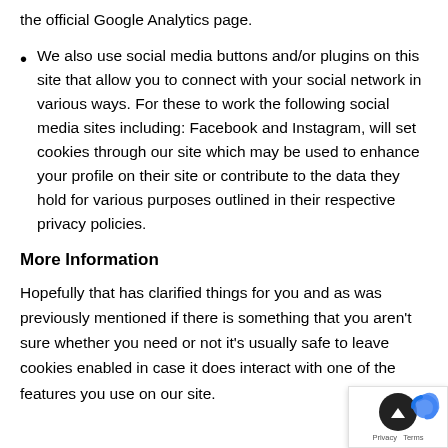the official Google Analytics page.
We also use social media buttons and/or plugins on this site that allow you to connect with your social network in various ways. For these to work the following social media sites including: Facebook and Instagram, will set cookies through our site which may be used to enhance your profile on their site or contribute to the data they hold for various purposes outlined in their respective privacy policies.
More Information
Hopefully that has clarified things for you and as was previously mentioned if there is something that you aren't sure whether you need or not it's usually safe to leave cookies enabled in case it does interact with one of the features you use on our site.